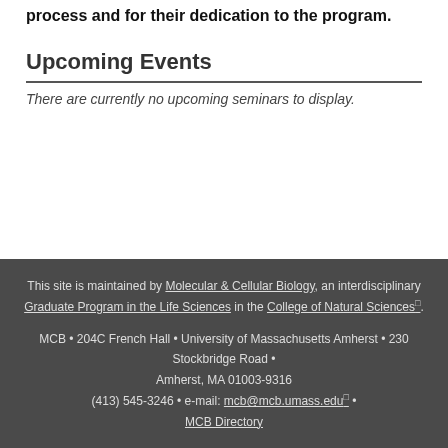process and for their dedication to the program.
Upcoming Events
There are currently no upcoming seminars to display.
This site is maintained by Molecular & Cellular Biology, an interdisciplinary Graduate Program in the Life Sciences in the College of Natural Sciences. MCB • 204C French Hall • University of Massachusetts Amherst • 230 Stockbridge Road • Amherst, MA 01003-9316 (413) 545-3246 • e-mail: mcb@mcb.umass.edu • MCB Directory